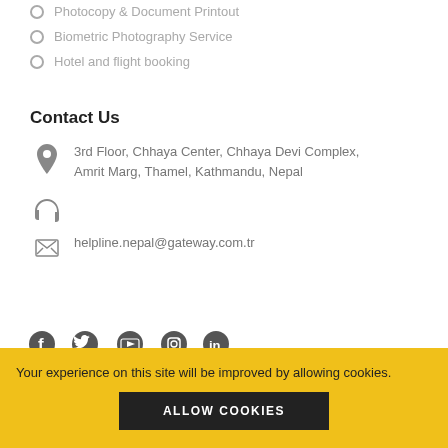Photocopy & Document Printout
Biometric Photography Service
Hotel and flight booking
Contact Us
3rd Floor, Chhaya Center, Chhaya Devi Complex, Amrit Marg, Thamel, Kathmandu, Nepal
helpline.nepal@gateway.com.tr
Your experience on this site will be improved by allowing cookies.
ALLOW COOKIES